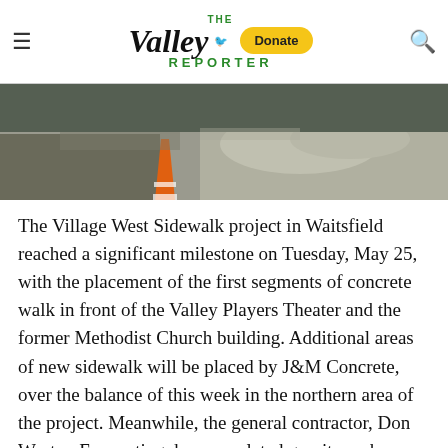The Valley Reporter - Donate
[Figure (photo): Construction site photo showing gravel, a traffic cone, and excavated earth for a sidewalk project]
The Village West Sidewalk project in Waitsfield reached a significant milestone on Tuesday, May 25, with the placement of the first segments of concrete walk in front of the Valley Players Theater and the former Methodist Church building. Additional areas of new sidewalk will be placed by J&M Concrete, over the balance of this week in the northern area of the project. Meanwhile, the general contractor, Don Weston Excavating, has completed granite curb installation in front of the Masonic Hall and Waitsfield Pottery building. Work